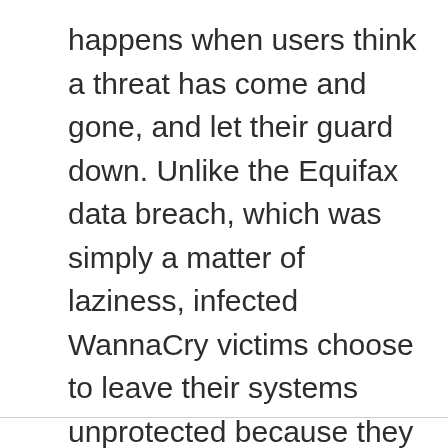happens when users think a threat has come and gone, and let their guard down. Unlike the Equifax data breach, which was simply a matter of laziness, infected WannaCry victims choose to leave their systems unprotected because they are too lax about the ever changing threats to the cyber world.